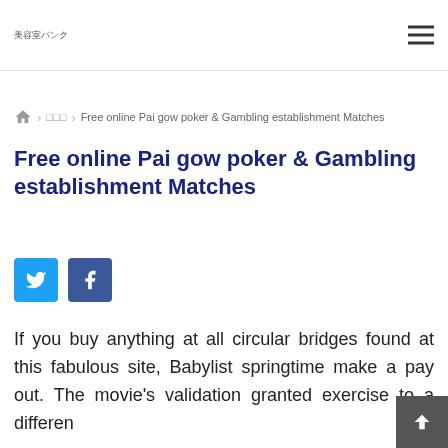美容室バンク
🏠 > □□□ > Free online Pai gow poker & Gambling establishment Matches
Free online Pai gow poker & Gambling establishment Matches
[Figure (other): Twitter and Facebook social share buttons]
If you buy anything at all circular bridges found at this fabulous site, Babylist springtime make a pay out. The movie's validation granted exercise to a differen